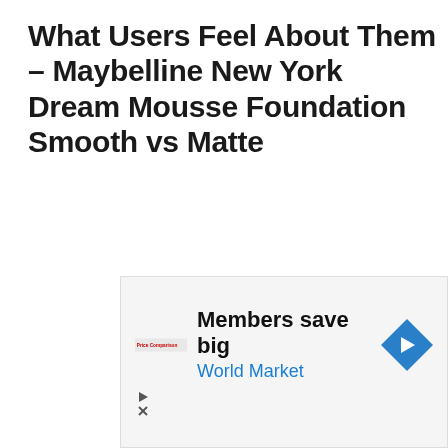What Users Feel About Them – Maybelline New York Dream Mousse Foundation Smooth vs Matte
| Smooth Mousse Foundation | Matte Mousse Foundation |
| --- | --- |
|  | The feeling of users towards this foundation... |
[Figure (infographic): Advertisement box: Members save big – World Market, with a navigation/direction arrow icon and price comparison logo. Contains play and close controls.]